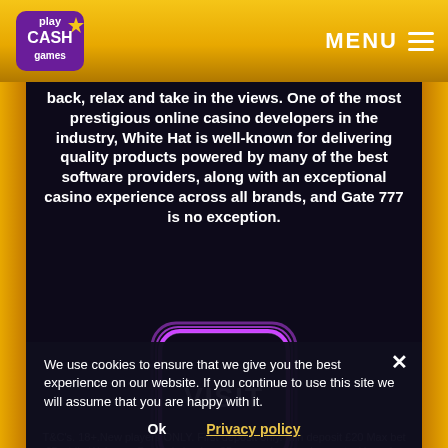Play Cash Games — MENU
back, relax and take in the views. One of the most prestigious online casino developers in the industry, White Hat is well-known for delivering quality products powered by many of the best software providers, along with an exceptional casino experience across all brands, and Gate 777 is no exception.
[Figure (illustration): A glowing purple rounded-square VISIT button with neon border effect on dark background]
We use cookies to ensure that we give you the best experience on our website. If you continue to use this site we will assume that you are happy with it.
T&C's. 18+.New players ONLY. First deposit only. Min deposit £20 Max bet £5 while Welcome Bonus is in play. 35x Wagering requirements. Upon 1st Deposit - 100% bonus up to £100 + 25 Extra Spins